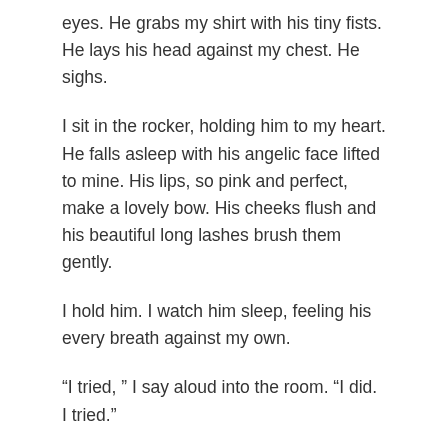eyes. He grabs my shirt with his tiny fists. He lays his head against my chest. He sighs.
I sit in the rocker, holding him to my heart. He falls asleep with his angelic face lifted to mine. His lips, so pink and perfect, make a lovely bow. His cheeks flush and his beautiful long lashes brush them gently.
I hold him. I watch him sleep, feeling his every breath against my own.
“I tried, ” I say aloud into the room. “I did. I tried.”
I cradle him a little closer. I close my own eyes, feeling a sense of relaxation and peace that so often eludes me.